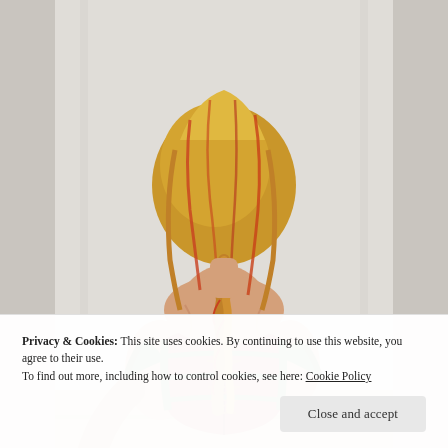[Figure (illustration): Watercolor illustration of a woman seen from behind, with long flowing blonde and orange hair, wearing a red and green laced corset dress with off-shoulder sleeves. Background is light grey.]
Privacy & Cookies: This site uses cookies. By continuing to use this website, you agree to their use.
To find out more, including how to control cookies, see here: Cookie Policy
Close and accept